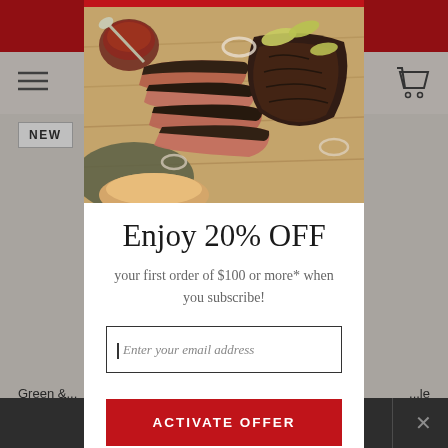[Figure (screenshot): E-commerce website background showing navigation bar with hamburger menu and cart icon, product listing area with 'NEW' badge, and dark bottom bar with close button]
[Figure (photo): Food photography showing sliced BBQ brisket on a wooden cutting board with barbecue sauce, pickled peppers, and onion rings]
Enjoy 20% OFF
your first order of $100 or more* when you subscribe!
Enter your email address
ACTIVATE OFFER